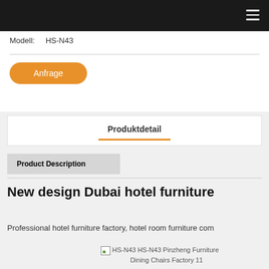Modell:    HS-N43
Anfrage
Produktdetail
Product Description
New design Dubai hotel furniture
Professional hotel furniture factory, hotel room furniture com
[Figure (photo): HS-N43 HS-N43 Pinzheng Furniture Dining Chairs Factory 11 — broken image placeholder]